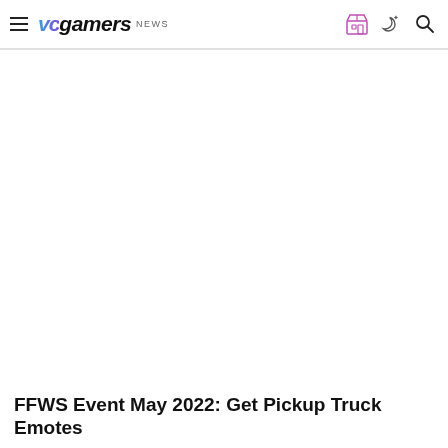VCgamers NEWS
[Figure (photo): Large white/blank image area (article hero image placeholder)]
FFWS Event May 2022: Get Pickup Truck Emotes